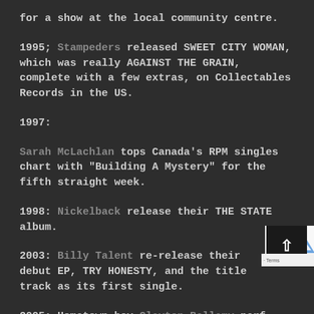for a show at the local community centre.
1995; Stampeders released SWEET CITY WOMAN, which was really AGAINST THE GRAIN, complete with a few extras, on Collectables Records in the US.
1997:
Sarah McLachlan tops Canada's RPM singles chart with "Building A Mystery" for the fifth straight week.
1998: Nickelback release their THE STATE album.
2003: Billy Talent re-release their debut EP, TRY HONESTY, and the title track as its first single.
2005: Hometown boy Clayton Bellamy perf at the Bonnyville celebrations for Alberta's